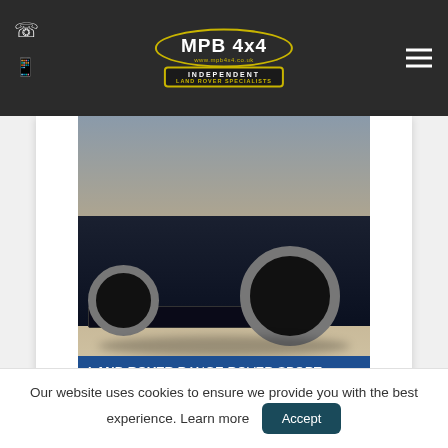[Figure (logo): MPB 4x4 Independent Land Rover Specialists logo in dark header with gold oval border and badge]
[Figure (photo): Land Rover Range Rover Sport SDV6 HSE vehicle photo showing front/wheel area from above]
LAND ROVER RANGE ROVER SPORT SDV6 HSE
RESERVED
Our website uses cookies to ensure we provide you with the best experience. Learn more
Accept